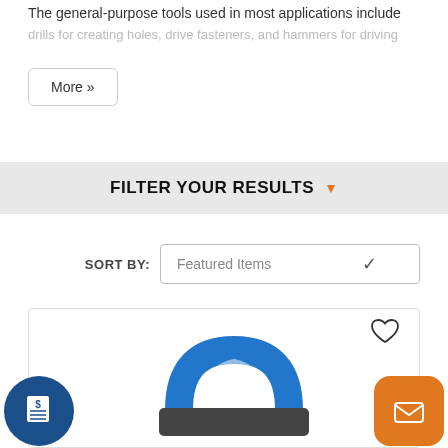The general-purpose tools used in most applications include drills for creating holes, drive fasteners, and hammers for driving
More »
FILTER YOUR RESULTS ▼
SORT BY: Featured Items
[Figure (photo): Blue grout float / hand scrubber tool with blue plastic handle and dark gray abrasive pad, shown on a white background product card]